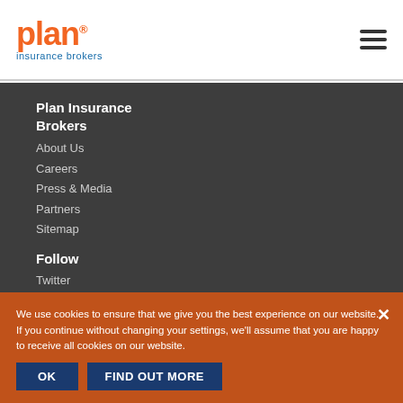Plan Insurance Brokers logo and navigation
Plan Insurance Brokers
About Us
Careers
Press & Media
Partners
Sitemap
Follow
Twitter
Facebook
Instagram
LinkedIn
Blog
Contact Us
Claims Services
Complaints Handling
We use cookies to ensure that we give you the best experience on our website. If you continue without changing your settings, we'll assume that you are happy to receive all cookies on our website.